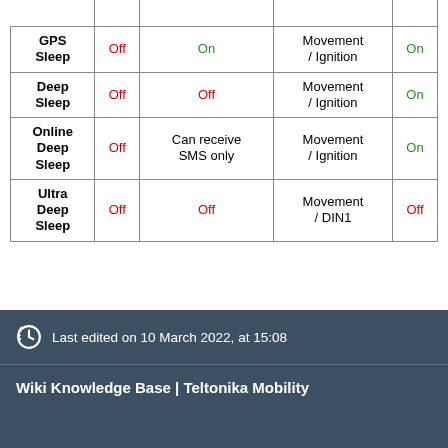| Mode | GSM | GNSS | Wake-up source | Accelerometer |
| --- | --- | --- | --- | --- |
| GPS Sleep | Off | On | Movement / Ignition | On |
| Deep Sleep | Off | Off | Movement / Ignition | On |
| Online Deep Sleep | Off | Can receive SMS only | Movement / Ignition | On |
| Ultra Deep Sleep | Off | Off | Movement / DIN1 | Off |
Last edited on 10 March 2022, at 15:08
Wiki Knowledge Base | Teltonika Mobility